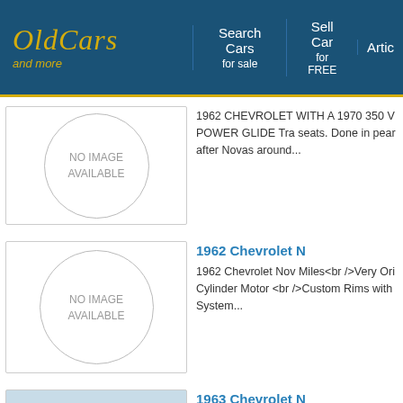OldCars and more | Search Cars for sale | Sell Car for FREE | Artic...
[Figure (photo): No image available placeholder with circle border for 1962 Chevrolet listing]
1962 CHEVROLET WITH A 1970 350 V POWER GLIDE Tra seats. Done in pear after Novas around...
1962 Chevrolet N
[Figure (photo): No image available placeholder with circle border for second 1962 Chevrolet Nova listing]
1962 Chevrolet Nov Miles<br />Very Ori Cylinder Motor <br />Custom Rims with System...
1963 Chevrolet N
[Figure (photo): Photograph of a light blue/green 1963 Chevrolet Nova parked outdoors]
1963 Chevrolet Nov with power steering Jersey., totally rust (two seams open o...